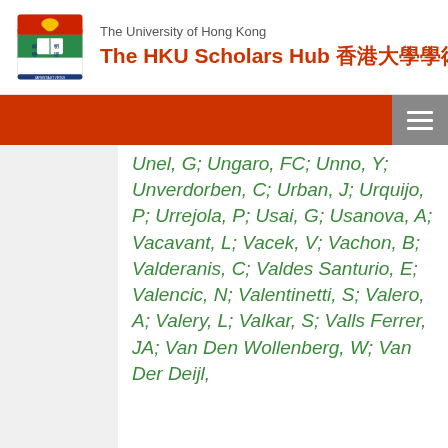The University of Hong Kong — The HKU Scholars Hub 香港大學學術庫
Unel, G; Ungaro, FC; Unno, Y; Unverdorben, C; Urban, J; Urquijo, P; Urrejola, P; Usai, G; Usanova, A; Vacavant, L; Vacek, V; Vachon, B; Valderanis, C; Valdes Santurio, E; Valencic, N; Valentinetti, S; Valero, A; Valery, L; Valkar, S; Valls Ferrer, JA; Van Den Wollenberg, W; Van Der Deijl,